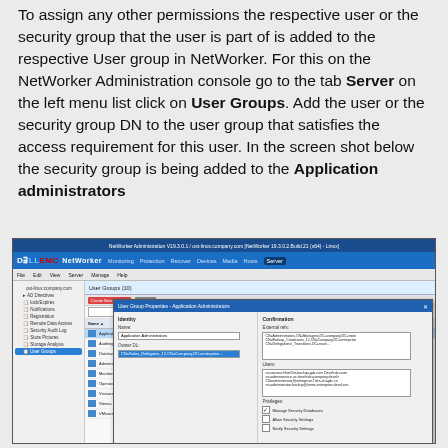To assign any other permissions the respective user or the security group that the user is part of is added to the respective User group in NetWorker. For this on the NetWorker Administration console go to the tab Server on the left menu list click on User Groups. Add the user or the security group DN to the user group that satisfies the access requirement for this user. In the screen shot below the security group is being added to the Application administrators
[Figure (screenshot): Screenshot of Dell EMC NetWorker Administration console showing the Server tab with User Groups section open and a modal dialog 'User Group Properties - Application Administrators' with Identity and Confirmation sections visible.]